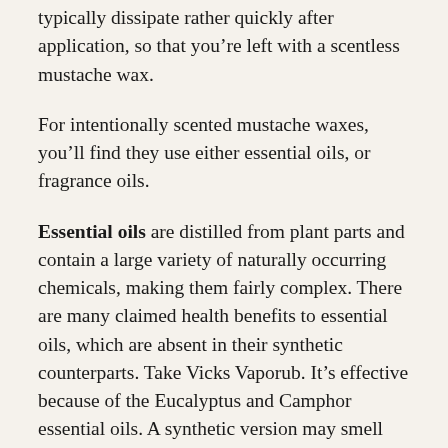typically dissipate rather quickly after application, so that you're left with a scentless mustache wax.
For intentionally scented mustache waxes, you'll find they use either essential oils, or fragrance oils.
Essential oils are distilled from plant parts and contain a large variety of naturally occurring chemicals, making them fairly complex. There are many claimed health benefits to essential oils, which are absent in their synthetic counterparts. Take Vicks Vaporub. It's effective because of the Eucalyptus and Camphor essential oils. A synthetic version may smell the same, but would not produce the same results. If your wax is